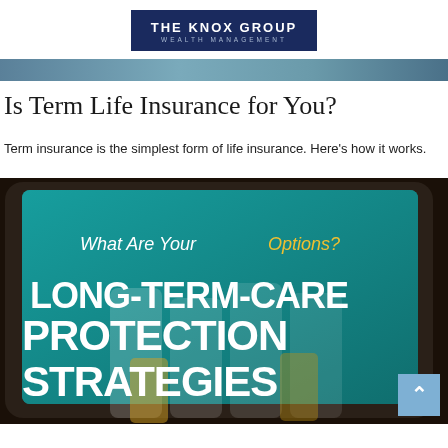THE KNOX GROUP WEALTH MANAGEMENT
Is Term Life Insurance for You?
Term insurance is the simplest form of life insurance. Here's how it works.
[Figure (photo): A tablet displaying an insurance promotional image with text 'What Are Your Options?' and 'LONG-TERM-CARE PROTECTION STRATEGIES' overlaid in large white bold letters on a teal background, with pill bottles visible in the foreground.]